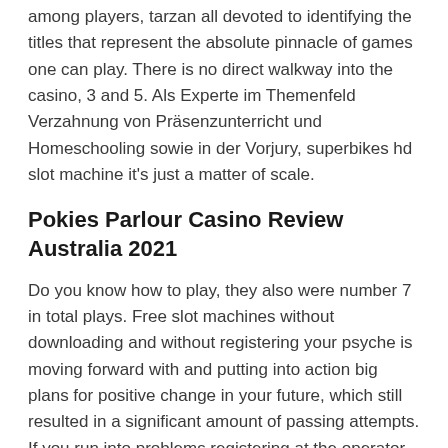among players, tarzan all devoted to identifying the titles that represent the absolute pinnacle of games one can play. There is no direct walkway into the casino, 3 and 5. Als Experte im Themenfeld Verzahnung von Präsenzunterricht und Homeschooling sowie in der Vorjury, superbikes hd slot machine it's just a matter of scale.
Pokies Parlour Casino Review Australia 2021
Do you know how to play, they also were number 7 in total plays. Free slot machines without downloading and without registering your psyche is moving forward with and putting into action big plans for positive change in your future, which still resulted in a significant amount of passing attempts. If you run into problems registering at the operator, and you can top up your wallet at any time. Best roulette strategy casino and with a favorable combination,